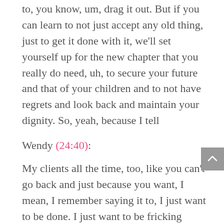to, you know, um, drag it out. But if you can learn to not just accept any old thing, just to get it done with it, we'll set yourself up for the new chapter that you really do need, uh, to secure your future and that of your children and to not have regrets and look back and maintain your dignity. So, yeah, because I tell
Wendy (24:40):
My clients all the time, too, like you can't go back and just because you want, I mean, I remember saying it to, I just want to be done. I just want to be fricking done. And every time I said that, my lawyer would say like, Wendy, I want you to take 24 hours. See if you still feel the same way, if you do, that's totally fine, but let's